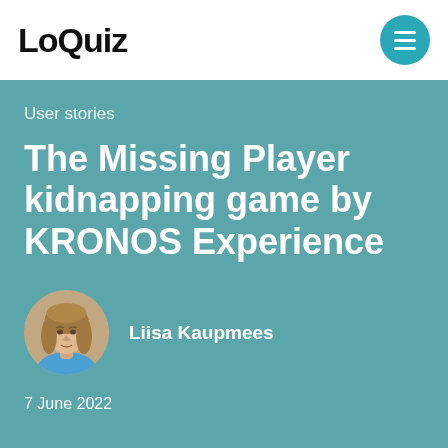LoQuiz
User stories
The Missing Player kidnapping game by KRONOS Experience
[Figure (photo): Circular portrait photo of Liisa Kaupmees, a woman with light brown hair wearing a blue top]
Liisa Kaupmees
7 June 2022